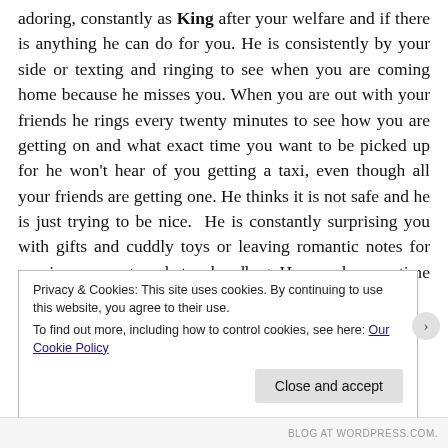adoring, constantly as King after your welfare and if there is anything he can do for you. He is consistently by your side or texting and ringing to see when you are coming home because he misses you. When you are out with your friends he rings every twenty minutes to see how you are getting on and what exact time you want to be picked up for he won't hear of you getting a taxi, even though all your friends are getting one. He thinks it is not safe and he is just trying to be nice. He is constantly surprising you with gifts and cuddly toys or leaving romantic notes for you in your coat pocket or handbag. He spends more time getting ready to go out th...
Privacy & Cookies: This site uses cookies. By continuing to use this website, you agree to their use.
To find out more, including how to control cookies, see here: Our Cookie Policy
Close and accept